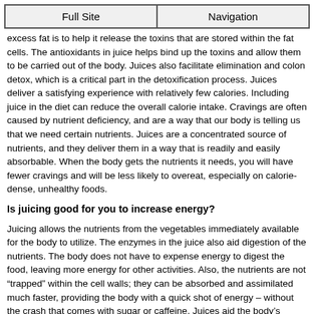Full Site | Navigation
excess fat is to help it release the toxins that are stored within the fat cells. The antioxidants in juice helps bind up the toxins and allow them to be carried out of the body. Juices also facilitate elimination and colon detox, which is a critical part in the detoxification process. Juices deliver a satisfying experience with relatively few calories. Including juice in the diet can reduce the overall calorie intake. Cravings are often caused by nutrient deficiency, and are a way that our body is telling us that we need certain nutrients. Juices are a concentrated source of nutrients, and they deliver them in a way that is readily and easily absorbable. When the body gets the nutrients it needs, you will have fewer cravings and will be less likely to overeat, especially on calorie-dense, unhealthy foods.
Is juicing good for you to increase energy?
Juicing allows the nutrients from the vegetables immediately available for the body to utilize. The enzymes in the juice also aid digestion of the nutrients. The body does not have to expense energy to digest the food, leaving more energy for other activities. Also, the nutrients are not “trapped” within the cell walls; they can be absorbed and assimilated much faster, providing the body with a quick shot of energy – without the crash that comes with sugar or caffeine. Juices aid the body’s detoxification process. The less energy the body needs to use on processing and eliminating toxins, the more energy is available for other activities.
Bio:Ling Wong, MS, CHHC, ADDP, is the founder and director of Thoughts For Foods Holistic Health.